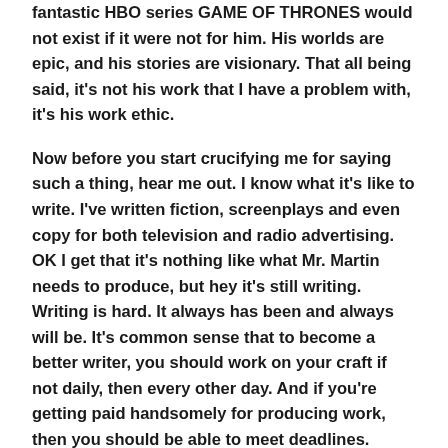fantastic HBO series GAME OF THRONES would not exist if it were not for him. His worlds are epic, and his stories are visionary. That all being said, it's not his work that I have a problem with, it's his work ethic.
Now before you start crucifying me for saying such a thing, hear me out. I know what it's like to write. I've written fiction, screenplays and even copy for both television and radio advertising. OK I get that it's nothing like what Mr. Martin needs to produce, but hey it's still writing. Writing is hard. It always has been and always will be. It's common sense that to become a better writer, you should work on your craft if not daily, then every other day. And if you're getting paid handsomely for producing work, then you should be able to meet deadlines.
By now, if you're a fan of George R.R. Martin, you probably know that he hasn't delivered a draft of the eagerly anticipated THE WINDS OF WINTER. He wrote a 1600 word essay explaining why. He cites many reasons, many are life related which I get. But the